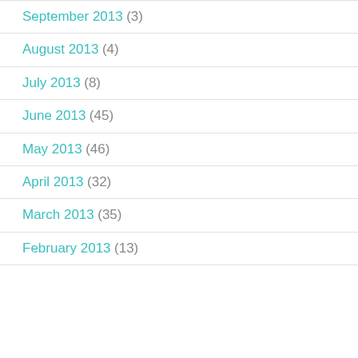September 2013 (3)
August 2013 (4)
July 2013 (8)
June 2013 (45)
May 2013 (46)
April 2013 (32)
March 2013 (35)
February 2013 (13)